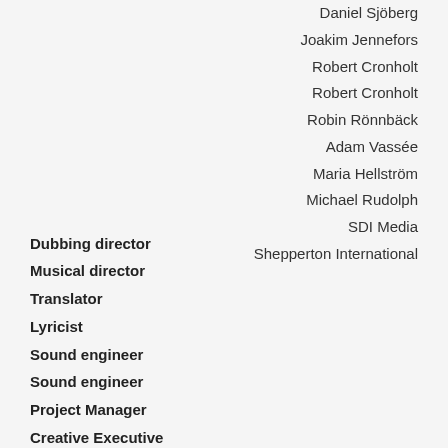Daniel Sjöberg
Joakim Jennefors
Robert Cronholt
Robert Cronholt
Robin Rönnbäck
Adam Vassée
Maria Hellström
Michael Rudolph
SDI Media
Shepperton International
Dubbing director
Musical director
Translator
Lyricist
Sound engineer
Sound engineer
Project Manager
Creative Executive
Dubbing studio
Mixing studio